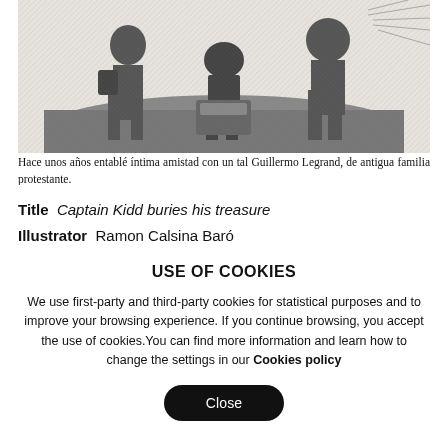[Figure (illustration): Black and white engraving showing figures burying treasure, Captain Kidd scene]
Hace unos años entablé íntima amistad con un tal Guillermo Legrand, de antigua familia protestante.
Title  Captain Kidd buries his treasure
Illustrator  Ramon Calsina Baró
USE OF COOKIES
We use first-party and third-party cookies for statistical purposes and to improve your browsing experience. If you continue browsing, you accept the use of cookies.You can find more information and learn how to change the settings in our Cookies policy
Close